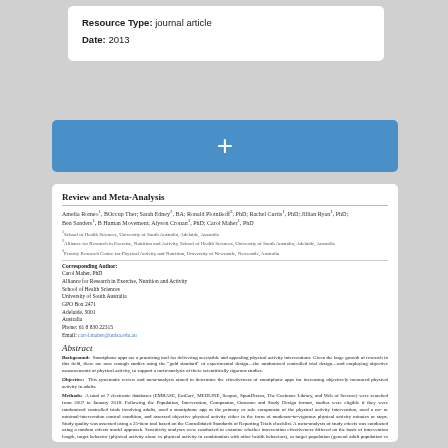Resource Type: journal article
Date: 2013
[Figure (other): Blue button with white plus sign (+)]
Review and Meta-Analysis
Amelia Romeo1, BOccup Ther; Sarah Edney2, BA; Ronald Plotnikoff3, PhD; Rachel Curtis1, PhD; Jillian Ryan1, PhD; Ben Sanders1, B Human Movement; Alyson Cronan1, PhD; Carol Maher1, PhD
1School of Health Sciences, University of South Australia, Adelaide, Australia
2Alliance for Research in Exercise, Nutrition and Activity, School of Health Sciences, University of South Australia, Adelaide, Australia
3Priority Research Centre for Physical Activity and Nutrition, University of Newcastle, Newcastle, Australia
Corresponding Author:
Carol Maher, PhD
Alliance for Research in Exercise, Nutrition and Activity
School of Health Sciences
University of South Australia
GPO Box 2471
Adelaide, 5001
Australia
Phone: 61 8 830 22315
Email: carol.maher@unisa.edu.au
Abstract
Background: Smartphone apps are a promising tool for delivering accessible and appealing physical activity interventions. Given the large growth of research in this field, there are now enough studies using the "gold standard" of experimental design—the randomized controlled trial design—and employing objective measurements of physical activity, to support a meta-analysis of these scientifically rigorous studies.

Objective: This systematic review and meta-analysis aimed to determine the effectiveness of smartphone apps for increasing objectively measured physical activity in adults.

Methods: A total of 7 electronic databases (EMBASE, EmCare, MEDLINE, Scopus, SportDiscus, The Cochrane Library, and Web of Science) were searched from 2007 to January 2018. Following the Population, Intervention, Comparator, Outcome and Study Design format, studies were eligible if they were randomized controlled trials involving adults, used a smartphone app as the primary or sole component of the physical activity intervention, used a no- or minimal-intervention control condition, and assessed objective physical activity either in the form of moderate-to-vigorous physical activity minutes or steps. Study quality was assessed using a 25-item tool based on the Consolidated Standards of Reporting Trials checklist. A meta-analysis of study effects was conducted using a random effects model approach. Sensitivity analyses were conducted to examine whether intervention effectiveness differed on the basis of intervention length, target behavior (physical activity alone vs physical activity in combination with other health behaviors), or target population (general adult population vs specific health populations).

Results: Following removal of duplicates, a total of 8170 studies were identified from the original database searches. Of these, 8 studies, involving a total of 1740 participants, met eligibility criteria. Of these, 8 studies could be included in a meta-analysis of the effects of physical activity apps on steps per day. In comparison with the control conditions, smartphone apps produced a nonsignificant (P=.19) increase in participants' average steps per day, with a mean difference of 478.75 steps per day (95% CI